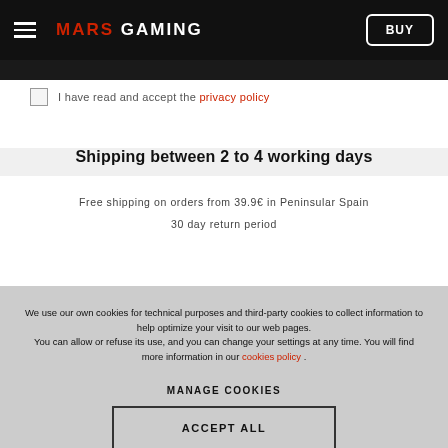MARS GAMING | BUY
I have read and accept the privacy policy
Shipping between 2 to 4 working days
Free shipping on orders from 39.9€ in Peninsular Spain
30 day return period
We use our own cookies for technical purposes and third-party cookies to collect information to help optimize your visit to our web pages. You can allow or refuse its use, and you can change your settings at any time. You will find more information in our cookies policy .
MANAGE COOKIES
ACCEPT ALL